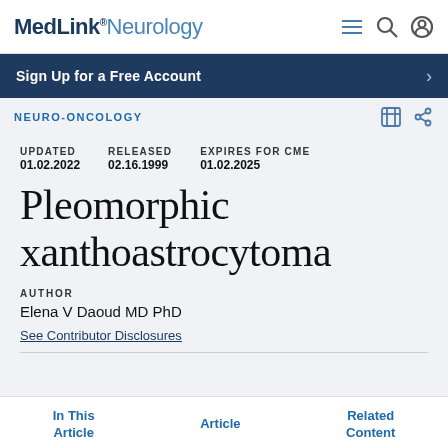MedLink® Neurology
Sign Up for a Free Account
NEURO-ONCOLOGY
UPDATED 01.02.2022  RELEASED 02.16.1999  EXPIRES FOR CME 01.02.2025
Pleomorphic xanthoastrocytoma
AUTHOR
Elena V Daoud MD PhD
See Contributor Disclosures
In This Article   Article   Related Content